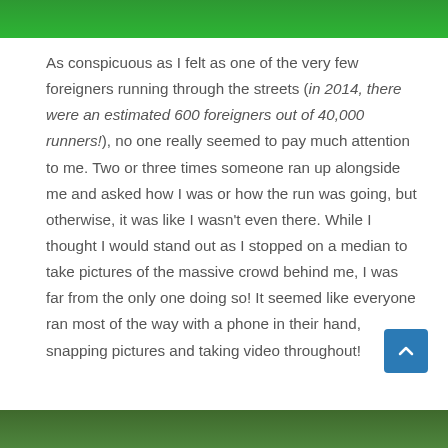[Figure (photo): Top portion of a photo showing people in green shirts]
As conspicuous as I felt as one of the very few foreigners running through the streets (in 2014, there were an estimated 600 foreigners out of 40,000 runners!), no one really seemed to pay much attention to me. Two or three times someone ran up alongside me and asked how I was or how the run was going, but otherwise, it was like I wasn't even there. While I thought I would stand out as I stopped on a median to take pictures of the massive crowd behind me, I was far from the only one doing so! It seemed like everyone ran most of the way with a phone in their hand, snapping pictures and taking video throughout!
[Figure (photo): Bottom portion of a photo showing outdoor scene with greenery]